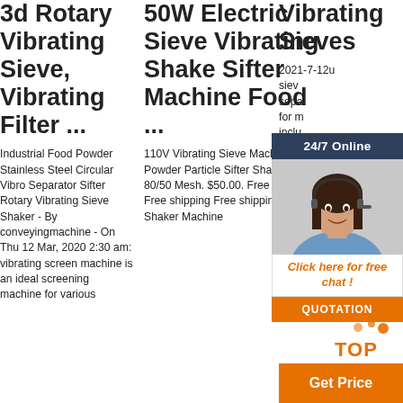3d Rotary Vibrating Sieve, Vibrating Filter ...
Industrial Food Powder Stainless Steel Circular Vibro Separator Sifter Rotary Vibrating Sieve Shaker - By conveyingmachine - On Thu 12 Mar, 2020 2:30 am: vibrating screen machine is an ideal screening machine for various
50W Electric Sieve Vibrating Shake Sifter Machine Food ...
110V Vibrating Sieve Machine Food Powder Particle Sifter Shaker Sieve 80/50 Mesh. $50.00. Free shipping Free shipping Free shipping. Electric Shaker Machine
Vibrating Sieves
2021-7-12u... sieves sepa... for m... inclu... grad... and ... as re... over... contamination to ensure a repeatable product quality.
[Figure (other): 24/7 Online chat widget with agent photo, 'Click here for free chat!' text, QUOTATION button]
[Figure (other): TOP badge with orange dots and TOP text]
Get Price